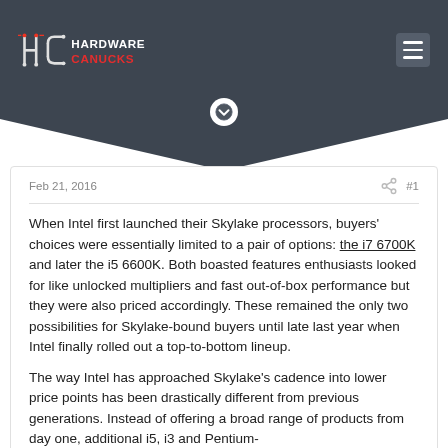Hardware Canucks
Feb 21, 2016  #1
When Intel first launched their Skylake processors, buyers' choices were essentially limited to a pair of options: the i7 6700K and later the i5 6600K. Both boasted features enthusiasts looked for like unlocked multipliers and fast out-of-box performance but they were also priced accordingly. These remained the only two possibilities for Skylake-bound buyers until late last year when Intel finally rolled out a top-to-bottom lineup.
The way Intel has approached Skylake's cadence into lower price points has been drastically different from previous generations. Instead of offering a broad range of products from day one, additional i5, i3 and Pentium-